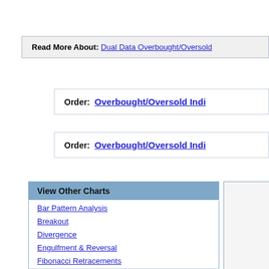Read More About: Dual Data Overbought/Oversold
Order:  Overbought/Oversold Indi...
Order:  Overbought/Oversold Indi...
View Other Charts
Bar Pattern Analysis
Breakout
Divergence
Engulfment & Reversal
Fibonacci Retracements
Floor Traders Mid Points
Floor Traders Pivot Points
Gap
High Low Mid Points
Intraday Time Zones